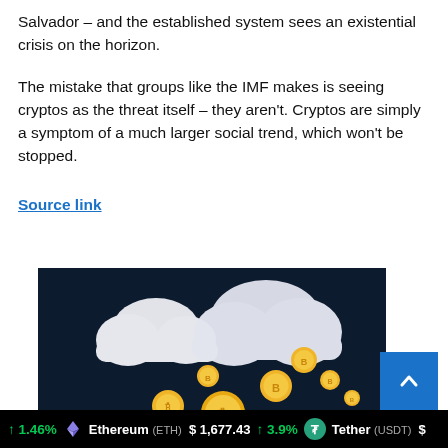now, this possibility is being embedded into state policy in El Salvador – and the established system sees an existential crisis on the horizon.
The mistake that groups like the IMF makes is seeing cryptos as the threat itself – they aren't. Cryptos are simply a symptom of a much larger social trend, which won't be stopped.
Source link
[Figure (illustration): Dark blue background with two white 3D clouds and multiple golden Bitcoin coins falling beneath them.]
↑ 1.46%  Ethereum (ETH)  $ 1,677.43  ↑ 3.9%  Tether (USDT)  $